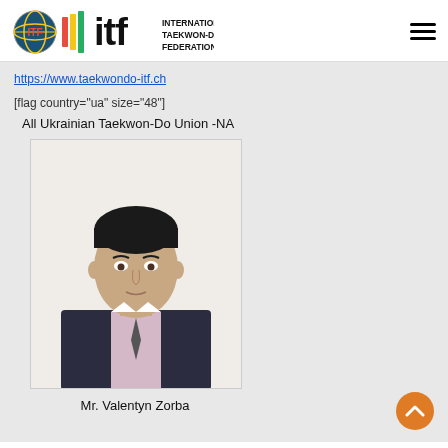International Taekwon-Do Federation
https://www.taekwondo-itf.ch
[flag country="ua" size="48"]
All Ukrainian Taekwon-Do Union -NA
[Figure (photo): Passport-style photo of Mr. Valentyn Zorba, a man in a dark suit and tie with a light purple shirt, facing forward against a white background.]
Mr. Valentyn Zorba